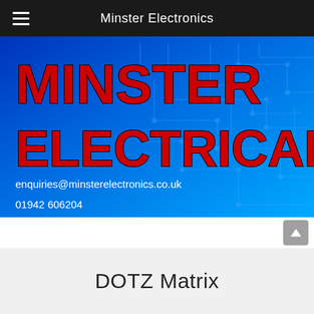Minster Electronics
[Figure (illustration): Minster Electrical company banner on a blue circuit board background. Large red bold text reads MINSTER ELECTRICAL. Below shows email: enquiries@minsterelectronics.co.uk and phone: 01942 606204]
DOTZ Matrix